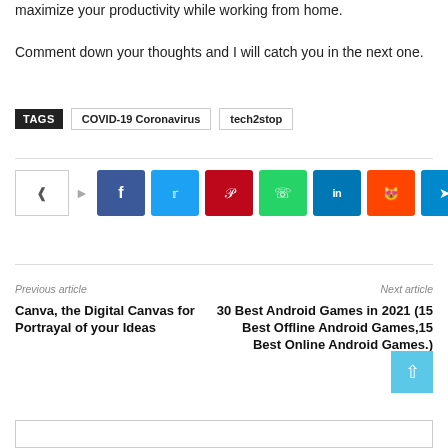maximize your productivity while working from home. Comment down your thoughts and I will catch you in the next one.
TAGS  COVID-19 Coronavirus  tech2stop
[Figure (infographic): Social share buttons row: share icon, then Facebook, Twitter, Pinterest, WhatsApp, LinkedIn, Reddit, Telegram colored squares]
Previous article
Next article
Canva, the Digital Canvas for Portrayal of your Ideas
30 Best Android Games in 2021 (15 Best Offline Android Games,15 Best Online Android Games.)